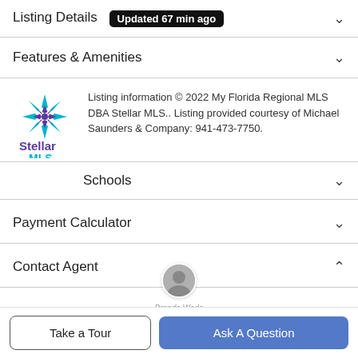Listing Details  Updated 67 min ago
Features & Amenities
Listing information © 2022 My Florida Regional MLS DBA Stellar MLS.. Listing provided courtesy of Michael Saunders & Company: 941-473-7750.
Schools
Payment Calculator
Contact Agent